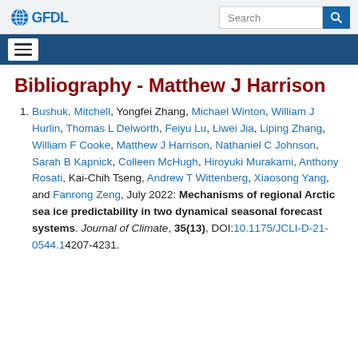GFDL — Navigation header with search bar and hamburger menu
Bibliography - Matthew J Harrison
Bushuk, Mitchell, Yongfei Zhang, Michael Winton, William J Hurlin, Thomas L Delworth, Feiyu Lu, Liwei Jia, Liping Zhang, William F Cooke, Matthew J Harrison, Nathaniel C Johnson, Sarah B Kapnick, Colleen McHugh, Hiroyuki Murakami, Anthony Rosati, Kai-Chih Tseng, Andrew T Wittenberg, Xiaosong Yang, and Fanrong Zeng, July 2022: Mechanisms of regional Arctic sea ice predictability in two dynamical seasonal forecast systems. Journal of Climate, 35(13), DOI:10.1175/JCLI-D-21-0544.1 4207-4231.